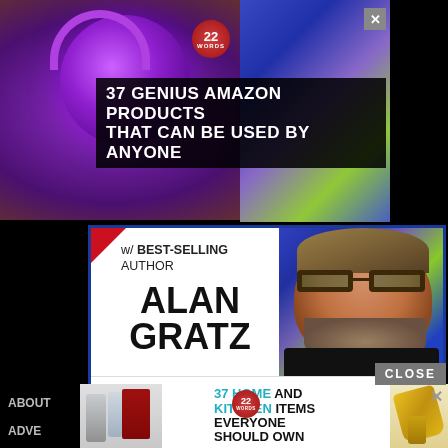[Figure (screenshot): Top advertisement banner: '37 GENIUS AMAZON PRODUCTS THAT CAN BE USED BY ANYONE' with purple headphones photo and geometric polygon background. 22 Words badge and close X button visible.]
[Figure (screenshot): Author event promotion card with blue border. Features photo of bearded man with glasses and hat (Alan Gratz). Text reads 'w/ BEST-SELLING AUTHOR ALAN GRATZ'. Footer text: 'Meet him with your school, school district, or writer's group! Proceeds benefit TABC Book Drop (Writer's Cubed, a 501c3).']
CLOSE
[Figure (screenshot): Bottom advertisement banner: '37 HOME AND KITCHEN ITEMS EVERYONE SHOULD OWN' with kitchen products (wine opener set on left, yellow peeler/tool on right). 22 Words badge and close X button visible.]
ABOUT
ADVE